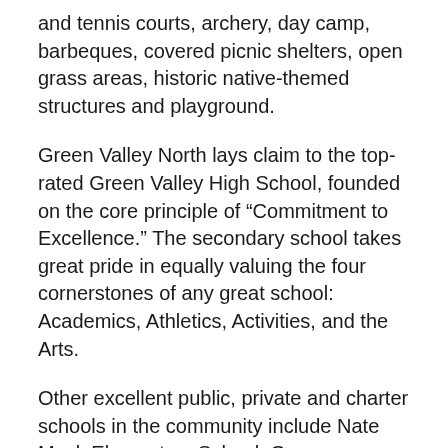and tennis courts, archery, day camp, barbeques, covered picnic shelters, open grass areas, historic native-themed structures and playground.
Green Valley North lays claim to the top-rated Green Valley High School, founded on the core principle of “Commitment to Excellence.” The secondary school takes great pride in equally valuing the four cornerstones of any great school: Academics, Athletics, Activities, and the Arts.
Other excellent public, private and charter schools in the community include Nate Mack Elementary School, Greenspun Junior High, Thurman White Academy of the Performing Arts, Del Sol Academy of the Performing Arts